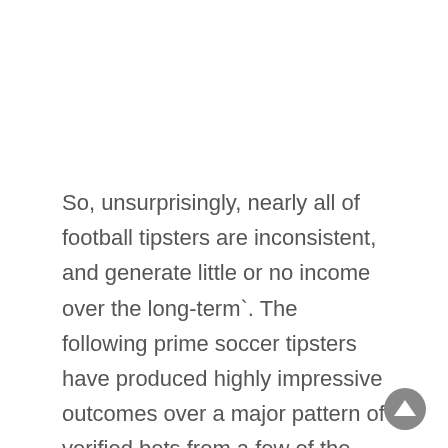So, unsurprisingly, nearly all of football tipsters are inconsistent, and generate little or no income over the long-term`. The following prime soccer tipsters have produced highly impressive outcomes over a major pattern of verified bets from a few of the world's 'tightest' sports markets. 7 days to say and stake £10 minimal bet at odds of 1.5 or greater to qualify. Free, void, cashed out or partially cashed out bets do not qualify. Free bets have to be used on 4 or